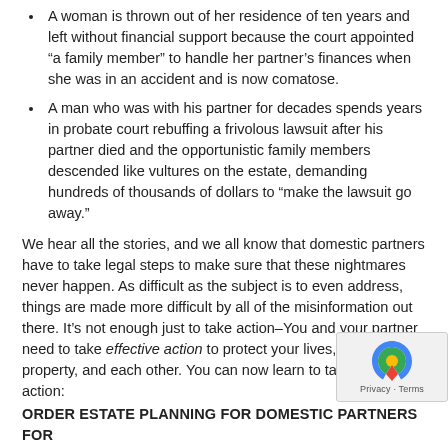A woman is thrown out of her residence of ten years and left without financial support because the court appointed “a family member” to handle her partner’s finances when she was in an accident and is now comatose.
A man who was with his partner for decades spends years in probate court rebuffing a frivolous lawsuit after his partner died and the opportunistic family members descended like vultures on the estate, demanding hundreds of thousands of dollars to “make the lawsuit go away.”
We hear all the stories, and we all know that domestic partners have to take legal steps to make sure that these nightmares never happen. As difficult as the subject is to even address, things are made more difficult by all of the misinformation out there. It’s not enough just to take action–You and your partner need to take effective action to protect your lives, your property, and each other. You can now learn to take effective action:
ORDER ESTATE PLANNING FOR DOMESTIC PARTNERS FOR